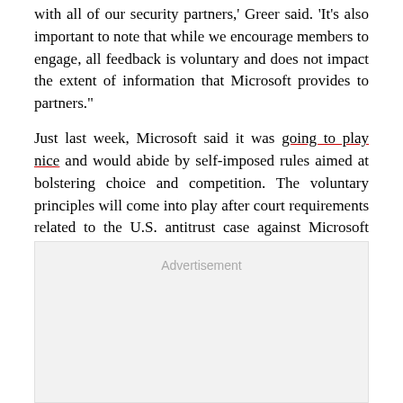with all of our security partners,' Greer said. 'It's also important to note that while we encourage members to engage, all feedback is voluntary and does not impact the extent of information that Microsoft provides to partners."
Just last week, Microsoft said it was going to play nice and would abide by self-imposed rules aimed at bolstering choice and competition. The voluntary principles will come into play after court requirements related to the U.S. antitrust case against Microsoft expire next year.
[Figure (other): Advertisement placeholder box]